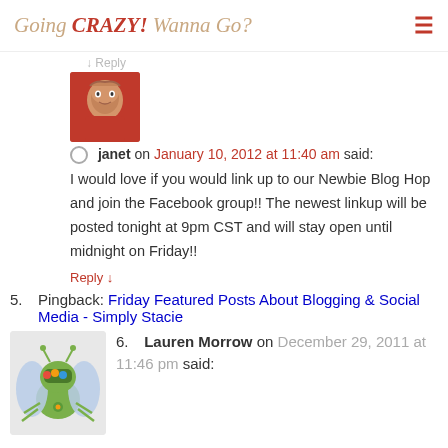Going CRAZY! Wanna Go?
↓ Reply
[Figure (photo): Avatar photo of janet, woman in orange shirt]
janet on January 10, 2012 at 11:40 am said: I would love if you would link up to our Newbie Blog Hop and join the Facebook group!! The newest linkup will be posted tonight at 9pm CST and will stay open until midnight on Friday!!
Reply ↓
5. Pingback: Friday Featured Posts About Blogging & Social Media - Simply Stacie
[Figure (illustration): Cartoon avatar of a green cartoon creature/bug with colorful spots]
6. Lauren Morrow on December 29, 2011 at 11:46 pm said: